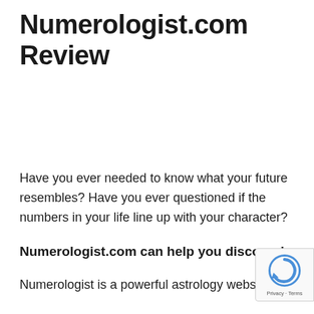Numerologist.com Review
Have you ever needed to know what your future resembles? Have you ever questioned if the numbers in your life line up with your character?
Numerologist.com can help you discover!
Numerologist is a powerful astrology website